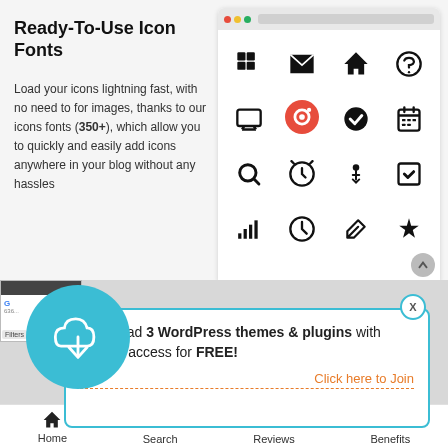Ready-To-Use Icon Fonts
Load your icons lightning fast, with no need to for images, thanks to our icons fonts (350+), which allow you to quickly and easily add icons anywhere in your blog without any hassles
[Figure (screenshot): Browser mockup showing a grid of icons including grid, mail, home, chat, monitor, camera (highlighted in red circle), checkmark, calendar, search, power, person, checkbox, bar chart, clock, edit, pin]
[Figure (infographic): Promotional popup overlay with blue circle download icon, text about downloading 3 WordPress themes & plugins with lifetime access for FREE, and a Click here to Join link in orange]
Download 3 WordPress themes & plugins with lifetime access for FREE!
Click here to Join
Home   Search   Reviews   Benefits